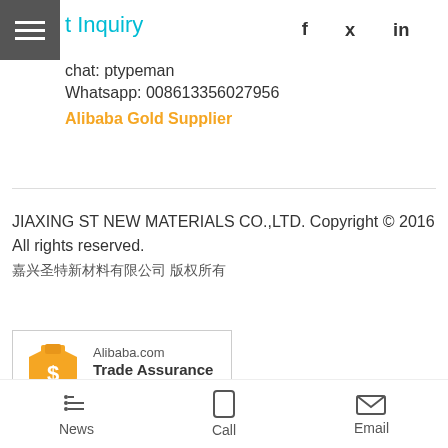t Inquiry
chat: ptypeman
Whatsapp: 008613356027956
Alibaba Gold Supplier
JIAXING ST NEW MATERIALS CO.,LTD. Copyright © 2016 All rights reserved. 嘉兴圣特新材料有限公司
[Figure (logo): Alibaba.com Trade Assurance Supplier badge with yellow shield icon containing dollar sign]
News  Call  Email